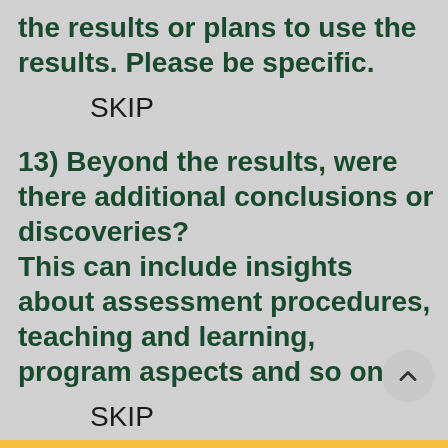the results or plans to use the results. Please be specific.
SKIP
13) Beyond the results, were there additional conclusions or discoveries? This can include insights about assessment procedures, teaching and learning, program aspects and so on.
SKIP